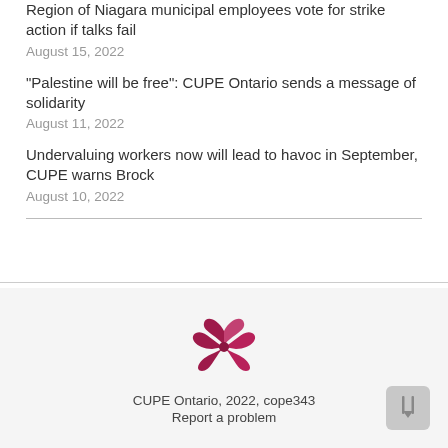Region of Niagara municipal employees vote for strike action if talks fail
August 15, 2022
“Palestine will be free”: CUPE Ontario sends a message of solidarity
August 11, 2022
Undervaluing workers now will lead to havoc in September, CUPE warns Brock
August 10, 2022
[Figure (logo): CUPE Ontario flower logo in dark red/maroon color]
CUPE Ontario, 2022, cope343
Report a problem